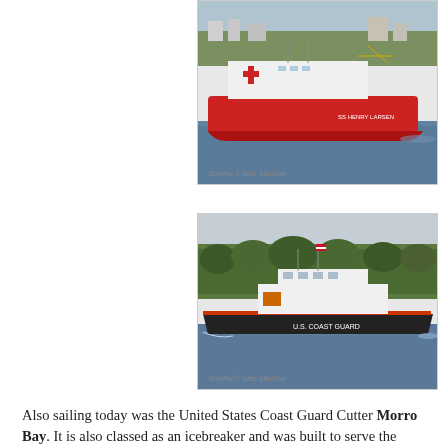[Figure (photo): A large red Canadian icebreaker ship sailing on calm water with a forested shoreline and buildings in the background. The ship has a red hull, white superstructure, and a red cross symbol. Photo credit: Shipfax © Mac MacKay]
[Figure (photo): A U.S. Coast Guard cutter vessel sailing on a river with a forested shoreline in the background. The white and black ship has 'U.S. COAST GUARD' written on its hull. Photo credit: Shipfax © Mac MacKay]
Also sailing today was the United States Coast Guard Cutter Morro Bay. It is also classed as an icebreaker and was built to serve the USCG on such bodies of water as the Hudson River and the Great Lakes. It was already pitching as it left the harbour. Its bluff bow and egg shaped hull are not built